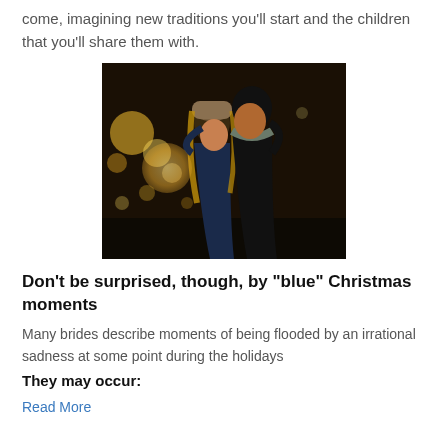come, imagining new traditions you'll start and the children that you'll share them with.
[Figure (photo): A couple embracing and almost kissing outdoors at night with bokeh Christmas lights in the background. Both are wearing winter clothing.]
Don't be surprised, though, by "blue" Christmas moments
Many brides describe moments of being flooded by an irrational sadness at some point during the holidays
They may occur:
Read More